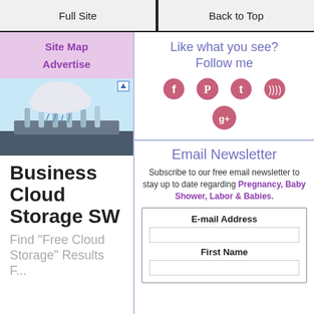Full Site | Back to Top
Site Map
Advertise
[Figure (photo): Advertisement banner showing a cloud with rain over test tubes, for Business Cloud Storage SW. Includes an ad icon in the top right.]
Business Cloud Storage SW
Find "Free Cloud Storage" Results F...
Like what you see?
Follow me
[Figure (infographic): Four social media icons in a row: Facebook, Pinterest, Tumblr, RSS feed (all in pink/rose circular badge style). Below them, a Google+ icon in the same style.]
Email Newsletter
Subscribe to our free email newsletter to stay up to date regarding Pregnancy, Baby Shower, Labor & Babies.
| E-mail Address | First Name |
| --- | --- |
|  |  |